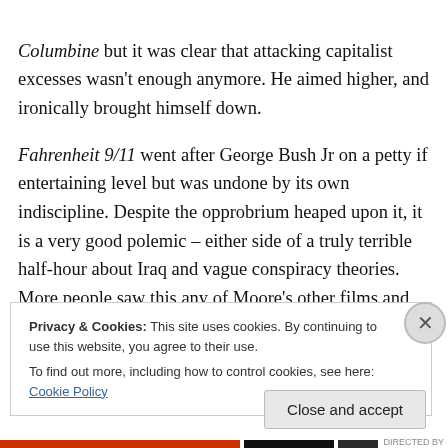Columbine but it was clear that attacking capitalist excesses wasn't enough anymore. He aimed higher, and ironically brought himself down.
Fahrenheit 9/11 went after George Bush Jr on a petty if entertaining level but was undone by its own indiscipline. Despite the opprobrium heaped upon it, it is a very good polemic – either side of a truly terrible half-hour about Iraq and vague conspiracy theories. More people saw this any of Moore's other films and that's why it was dangerously ill-judged. Fahrenheit 9/11 was designed to topple Bush
Privacy & Cookies: This site uses cookies. By continuing to use this website, you agree to their use.
To find out more, including how to control cookies, see here: Cookie Policy
Close and accept